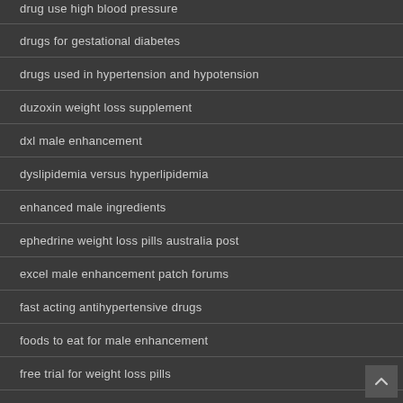drug use high blood pressure
drugs for gestational diabetes
drugs used in hypertension and hypotension
duzoxin weight loss supplement
dxl male enhancement
dyslipidemia versus hyperlipidemia
enhanced male ingredients
ephedrine weight loss pills australia post
excel male enhancement patch forums
fast acting antihypertensive drugs
foods to eat for male enhancement
free trial for weight loss pills
free weight loss pills no shipping handling